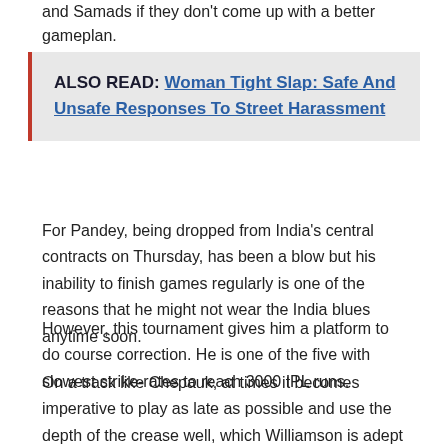and Samads if they don't come up with a better gameplan.
ALSO READ: Woman Tight Slap: Safe And Unsafe Responses To Street Harassment
For Pandey, being dropped from India's central contracts on Thursday, has been a blow but his inability to finish games regularly is one of the reasons that he might not wear the India blues anytime soon.
However, this tournament gives him a platform to do course correction. He is one of the five with slowest strike-rates to reach 3000 IPL runs.
On a track like Chepauk, at times it becomes imperative to play as late as possible and use the depth of the crease well, which Williamson is adept at.
The other issue has been team's bowling with T Natarajan not in the kind of form he was last season and Bhuvneshwar Kumar also on the expensive